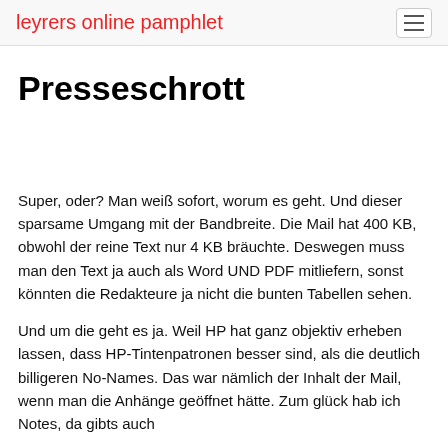leyrers online pamphlet
Presseschrott
Super, oder? Man weiß sofort, worum es geht. Und dieser sparsame Umgang mit der Bandbreite. Die Mail hat 400 KB, obwohl der reine Text nur 4 KB bräuchte. Deswegen muss man den Text ja auch als Word UND PDF mitliefern, sonst könnten die Redakteure ja nicht die bunten Tabellen sehen.
Und um die geht es ja. Weil HP hat ganz objektiv erheben lassen, dass HP-Tintenpatronen besser sind, als die deutlich billigeren No-Names. Das war nämlich der Inhalt der Mail, wenn man die Anhänge geöffnet hätte. Zum glück hab ich Notes, da gibts auch